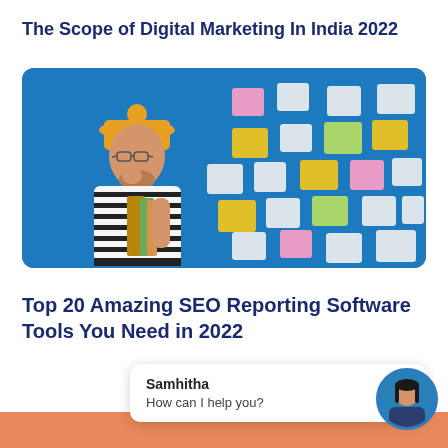The Scope of Digital Marketing In India 2022
[Figure (photo): Man in yellow beanie hat and striped shirt holding books, standing in front of a blue wall covered with colorful sticky notes (white, yellow, green, pink)]
Top 20 Amazing SEO Reporting Software Tools You Need in 2022
Samhitha
How can I help you?
[Figure (photo): Circular profile photo of a woman]